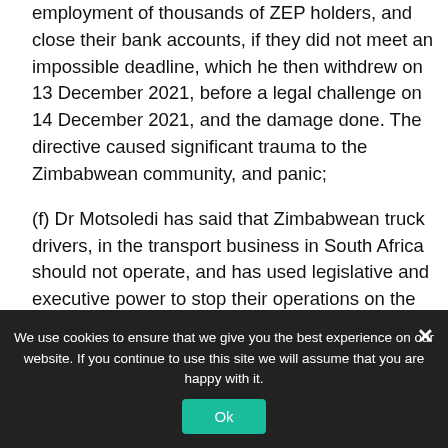employment of thousands of ZEP holders, and close their bank accounts, if they did not meet an impossible deadline, which he then withdrew on 13 December 2021, before a legal challenge on 14 December 2021, and the damage done. The directive caused significant trauma to the Zimbabwean community, and panic;
(f) Dr Motsoledi has said that Zimbabwean truck drivers, in the transport business in South Africa should not operate, and has used legislative and executive power to stop their operations on the
We use cookies to ensure that we give you the best experience on our website. If you continue to use this site we will assume that you are happy with it.